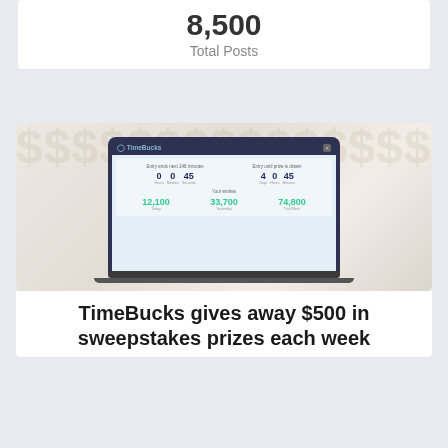8,500
Total Posts
[Figure (screenshot): Screenshot of a TimeBucks sweepstakes countdown timer on a laptop screen, showing countdown numbers (0 Hours, 0 Minutes, 45 Seconds for current week; 4 Days, 0 Hours, 45 Minutes for next prize draw) and 'Your entries' stats (12,100 Today; 33,700 Yesterday; 74,800 This Week)]
TimeBucks gives away $500 in sweepstakes prizes each week